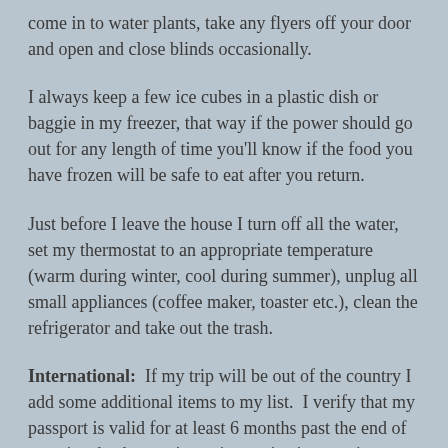come in to water plants, take any flyers off your door and open and close blinds occasionally.
I always keep a few ice cubes in a plastic dish or baggie in my freezer, that way if the power should go out for any length of time you'll know if the food you have frozen will be safe to eat after you return.
Just before I leave the house I turn off all the water, set my thermostat to an appropriate temperature (warm during winter, cool during summer), unplug all small appliances (coffee maker, toaster etc.), clean the refrigerator and take out the trash.
International: If my trip will be out of the country I add some additional items to my list. I verify that my passport is valid for at least 6 months past the end of my trip, check any visa or immunization requirements and purchase an